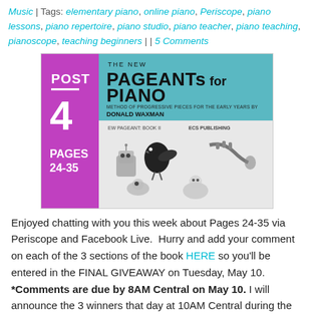Music | Tags: elementary piano, online piano, Periscope, piano lessons, piano repertoire, piano studio, piano teacher, piano teaching, pianoscope, teaching beginners | | 5 Comments
[Figure (illustration): Book cover image for 'The New Pageants for Piano' by Donald Waxman, ECS Publishing. Purple band on left shows POST 4 PAGES 24-35. Teal top portion shows book title. Bottom portion shows illustrated cartoon musicians.]
Enjoyed chatting with you this week about Pages 24-35 via Periscope and Facebook Live.  Hurry and add your comment on each of the 3 sections of the book HERE so you'll be entered in the FINAL GIVEAWAY on Tuesday, May 10.  *Comments are due by 8AM Central on May 10. I will announce the 3 winners that day at 10AM Central during the LIVE broadcast.  You don't have to be present to win.